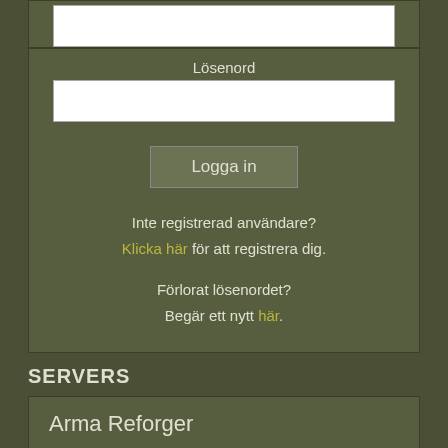[Figure (screenshot): White input box for username/password field at top]
Lösenord
[Figure (screenshot): White input box for password]
Logga in
Inte registrerad användare? Klicka här för att registrera dig.
Förlorat lösenordet? Begär ett nytt här.
SERVERS
Arma Reforger
Arma 3
Arma 2
Arma 1